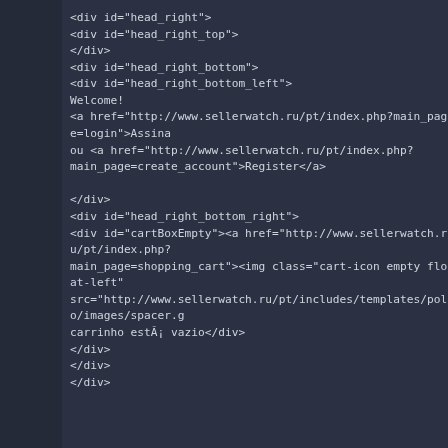[Figure (screenshot): Screenshot of HTML source code displayed in a dark-themed code editor. The code shows HTML div elements for a website header including head_right, head_right_top, head_right_bottom, head_right_bottom_left with login/register links, head_right_bottom_right with cartBoxEmpty div, and head_left with logo image, and head_center with a quick_find_header form.]